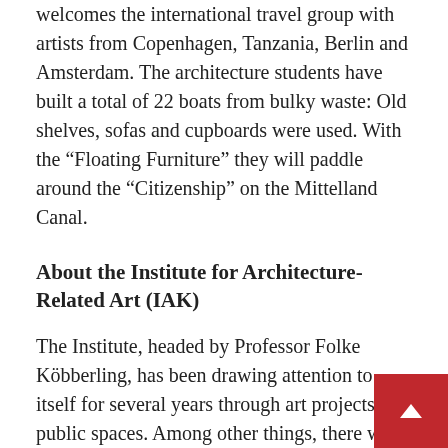welcomes the international travel group with artists from Copenhagen, Tanzania, Berlin and Amsterdam. The architecture students have built a total of 22 boats from bulky waste: Old shelves, sofas and cupboards were used. With the “Floating Furniture” they will paddle around the “Citizenship” on the Mittelland Canal.
About the Institute for Architecture-Related Art (IAK)
The Institute, headed by Professor Folke Köbberling, has been drawing attention to itself for several years through art projects in public spaces. Among other things, there were participations in the Lichtparcours Braunschweig 2016 and 2020. A sensational one-month exhibition in summer 2019 on Braunschweig’s main canal first drew the attention to the art of floating.